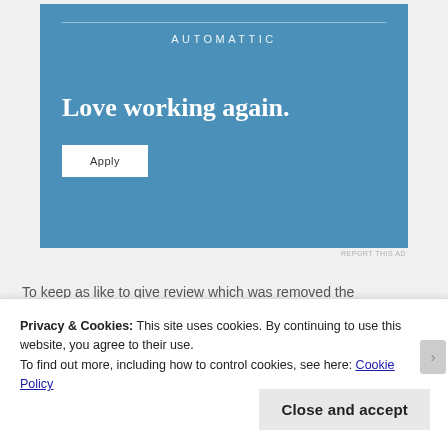[Figure (screenshot): Automattic advertisement banner with blue background. Shows 'AUTOMATTIC' brand name at top, bold headline 'Love working again.' and a white 'Apply' button.]
REPORT THIS AD
Privacy & Cookies: This site uses cookies. By continuing to use this website, you agree to their use. To find out more, including how to control cookies, see here: Cookie Policy
Close and accept